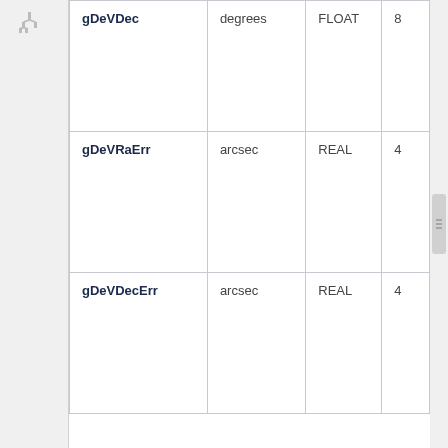| Name | Unit | Type | Size |
| --- | --- | --- | --- |
| gDeVDec | degrees | FLOAT | 8 |
| gDeVRaErr | arcsec | REAL | 4 |
| gDeVDecErr | arcsec | REAL | 4 |